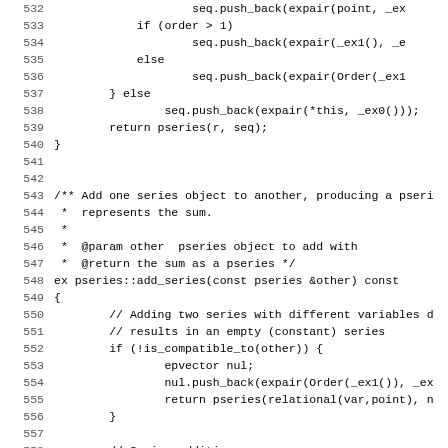[Figure (screenshot): C++ source code listing, lines 532-563, showing power series addition implementation with comments and code for add_series function]